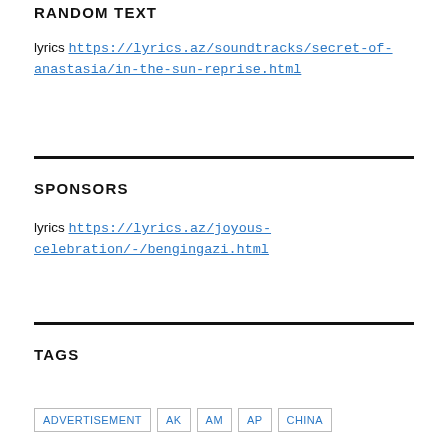RANDOM TEXT
lyrics https://lyrics.az/soundtracks/secret-of-anastasia/in-the-sun-reprise.html
SPONSORS
lyrics https://lyrics.az/joyous-celebration/-/bengingazi.html
TAGS
ADVERTISEMENT
AK
AM
AP
china